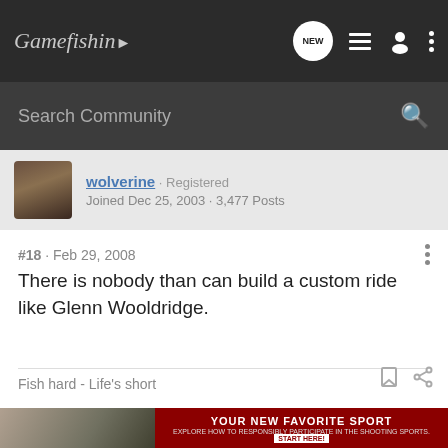Gamefishin NEW
Search Community
wolverine · Registered
Joined Dec 25, 2003 · 3,477 Posts
#18 · Feb 29, 2008
There is nobody than can build a custom ride like Glenn Wooldridge.
Fish hard - Life's short
[Figure (photo): Advertisement banner: YOUR NEW FAVORITE SPORT - Explore how to responsibly participate in the shooting sports. START HERE!]